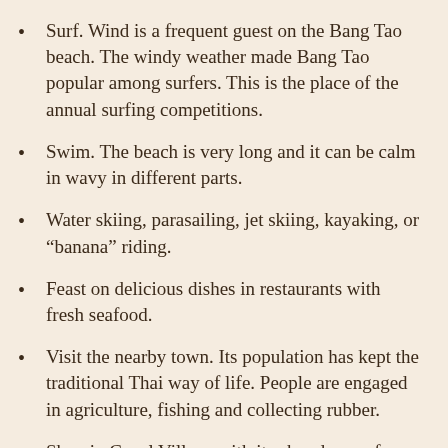Surf. Wind is a frequent guest on the Bang Tao beach. The windy weather made Bang Tao popular among surfers. This is the place of the annual surfing competitions.
Swim. The beach is very long and it can be calm in wavy in different parts.
Water skiing, parasailing, jet skiing, kayaking, or “banana” riding.
Feast on delicious dishes in restaurants with fresh seafood.
Visit the nearby town. Its population has kept the traditional Thai way of life. People are engaged in agriculture, fishing and collecting rubber.
Shop in Canal Village with its abundance of boutiques, souvenir shops and convenience stores.